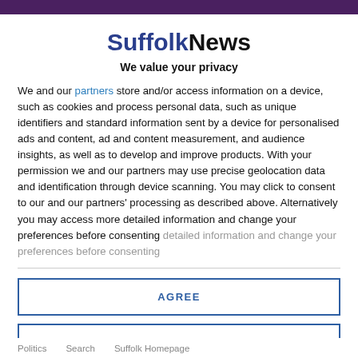SuffolkNews
We value your privacy
We and our partners store and/or access information on a device, such as cookies and process personal data, such as unique identifiers and standard information sent by a device for personalised ads and content, ad and content measurement, and audience insights, as well as to develop and improve products. With your permission we and our partners may use precise geolocation data and identification through device scanning. You may click to consent to our and our partners' processing as described above. Alternatively you may access more detailed information and change your preferences before consenting
AGREE
MORE OPTIONS
Politics   Search   Suffolk Homepage